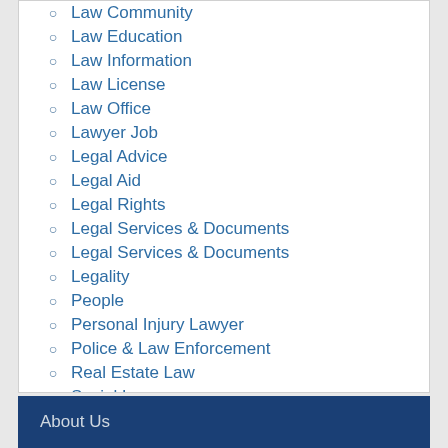Law Community
Law Education
Law Information
Law License
Law Office
Lawyer Job
Legal Advice
Legal Aid
Legal Rights
Legal Services & Documents
Legal Services & Documents
Legality
People
Personal Injury Lawyer
Police & Law Enforcement
Real Estate Law
Social Lawyer
About Us